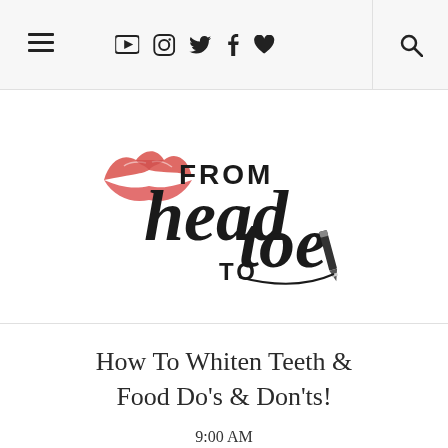≡  ▶  📷  🐦  f  ♥  🔍
[Figure (logo): From Head To Toe blog logo with lipstick mark and cursive script lettering, with a pencil/eyeliner graphic element]
How To Whiten Teeth & Food Do's & Don'ts!
9:00 AM